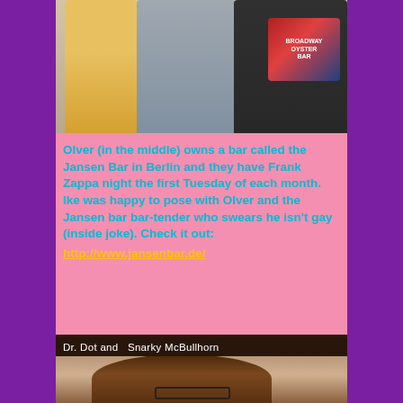[Figure (photo): Three people posing together. Person on left in yellow shirt, person in middle in grey shirt, person on right in dark Broadway Oyster Bar t-shirt with graphic.]
Olver (in the middle) owns a bar called the Jansen Bar in Berlin and they have Frank Zappa night the first Tuesday of each month. Ike was happy to pose with Olver and the Jansen bar bar-tender who swears he isn't gay (inside joke). Check it out: http://www.jansenbar.de/
[Figure (photo): Photo captioned 'Dr. Dot and Snarky McBullhorn' showing a person with curly hair and glasses.]
Dr. Dot and  Snarky McBullhorn